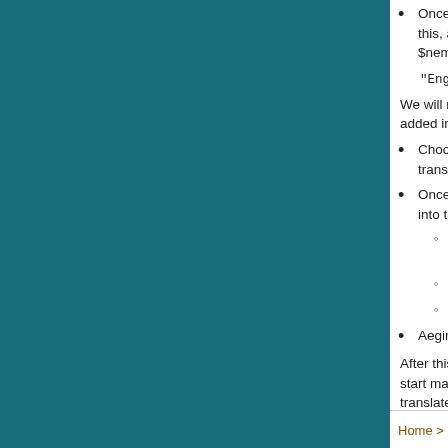Once the translation is complete you need to this, again edit snippet /AegirCore/lib/localization $nemeinlocalization_available The format is f
"English","Finnish","Polish","My Language"
We will make the same addition in Aegir once added into the Aegir distribution
Choose the language from Front page -> con translation thoroughly.
Once the translation is complete send it to us into the main distribution:
Check the database ID for snippetdir /AegirCore/Localization/AegirCore/my
Export that language with repligard
Send the exported package to us or m
Aegir CMS is available in your local language
After this the language library needs to be kept upda start making prereleases of Aegir available for all tra translate all new strings before actual release.
Home > Development > Translations    English